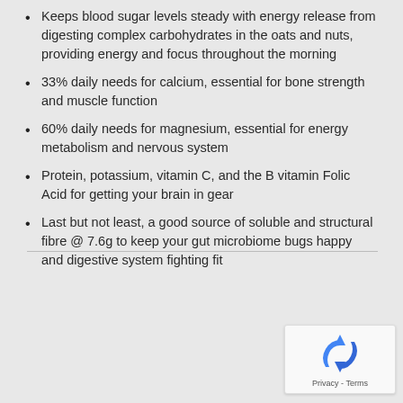Keeps blood sugar levels steady with energy release from digesting complex carbohydrates in the oats and nuts, providing energy and focus throughout the morning
33% daily needs for calcium, essential for bone strength and muscle function
60% daily needs for magnesium, essential for energy metabolism and nervous system
Protein, potassium, vitamin C, and the B vitamin Folic Acid for getting your brain in gear
Last but not least, a good source of soluble and structural fibre @ 7.6g to keep your gut microbiome bugs happy and digestive system fighting fit